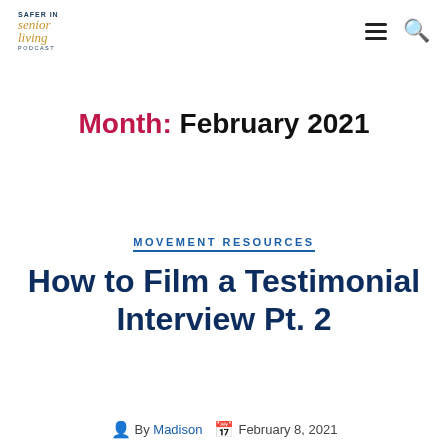Safer In Senior Living Podcast
Month: February 2021
MOVEMENT RESOURCES
How to Film a Testimonial Interview Pt. 2
By Madison   February 8, 2021